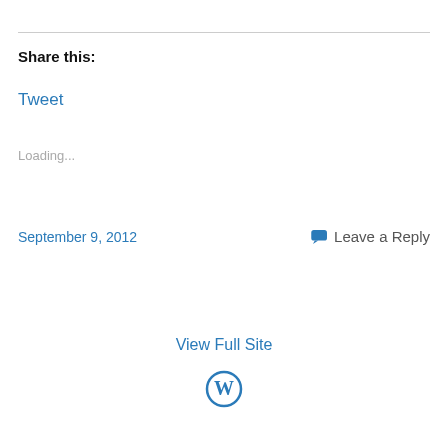Share this:
Tweet
Loading...
September 9, 2012
Leave a Reply
View Full Site
[Figure (logo): WordPress logo - circular W mark in blue]